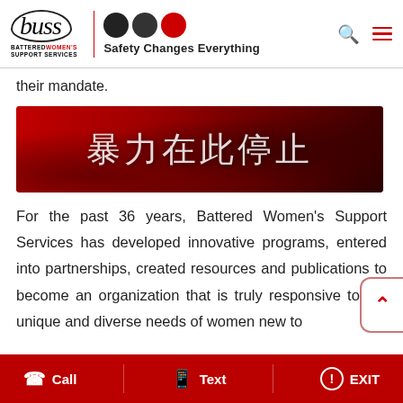buss BATTERED WOMEN'S SUPPORT SERVICES | Safety Changes Everything
their mandate.
[Figure (illustration): Red banner with Chinese characters reading '暴力在此停止' (Violence stops here) on a dark red floral background]
For the past 36 years, Battered Women's Support Services has developed innovative programs, entered into partnerships, created resources and publications to become an organization that is truly responsive to the unique and diverse needs of women new to
Call   Text   EXIT